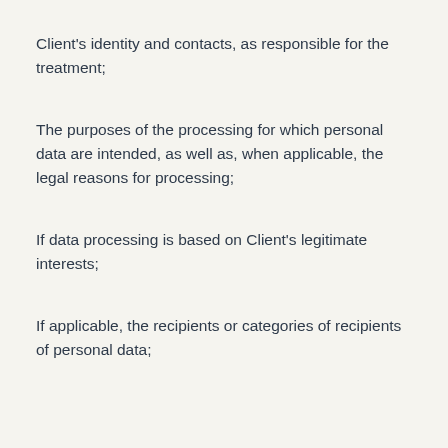Client's identity and contacts, as responsible for the treatment;
The purposes of the processing for which personal data are intended, as well as, when applicable, the legal reasons for processing;
If data processing is based on Client's legitimate interests;
If applicable, the recipients or categories of recipients of personal data;